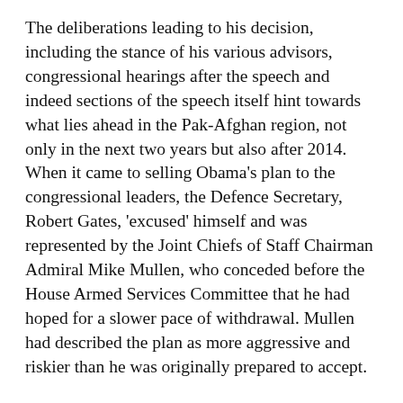The deliberations leading to his decision, including the stance of his various advisors, congressional hearings after the speech and indeed sections of the speech itself hint towards what lies ahead in the Pak-Afghan region, not only in the next two years but also after 2014. When it came to selling Obama's plan to the congressional leaders, the Defence Secretary, Robert Gates, 'excused' himself and was represented by the Joint Chiefs of Staff Chairman Admiral Mike Mullen, who conceded before the House Armed Services Committee that he had hoped for a slower pace of withdrawal. Mullen had described the plan as more aggressive and riskier than he was originally prepared to accept.
Similarly, General David Petraeus and the man set to replace him as head of coalition forces in Afghanistan, Lieutenant General John Allen, have stated that Obama's final plan was not one of the options proposed to the president by General Petraeus. Except for Hillary Clinton and Joe Biden, most officials have placed their dissenting note on record.